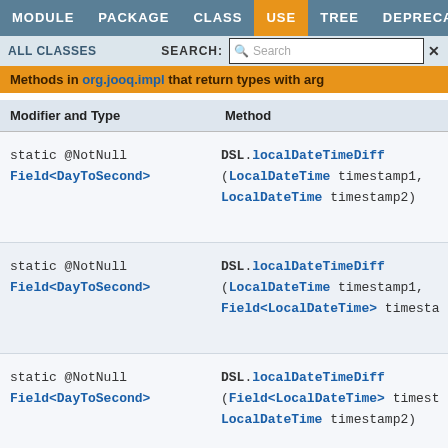MODULE  PACKAGE  CLASS  USE  TREE  DEPRECATED  INDEX
ALL CLASSES   SEARCH:  Search
Methods in org.jooq.impl that return types with arg...
| Modifier and Type | Method |
| --- | --- |
| static @NotNull
Field<DayToSecond> | DSL.localDateTimeDiff
(LocalDateTime timestamp1,
LocalDateTime timestamp2) |
| static @NotNull
Field<DayToSecond> | DSL.localDateTimeDiff
(LocalDateTime timestamp1,
Field<LocalDateTime> timesta... |
| static @NotNull
Field<DayToSecond> | DSL.localDateTimeDiff
(Field<LocalDateTime> timest...
LocalDateTime timestamp2) |